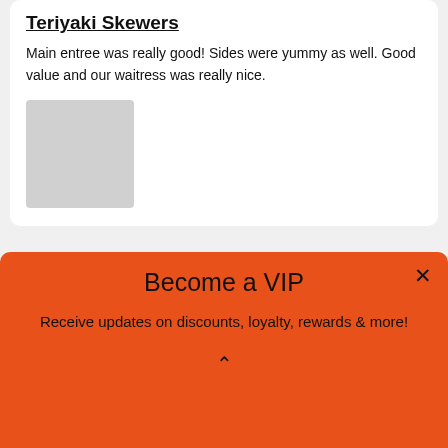Teriyaki Skewers
Main entree was really good! Sides were yummy as well. Good value and our waitress was really nice.
[Figure (photo): Gray placeholder image thumbnail for a food photo]
Staceyfernandes813
15 days ago
Catfish
Become a VIP
Receive updates on discounts, loyalty, rewards & more!